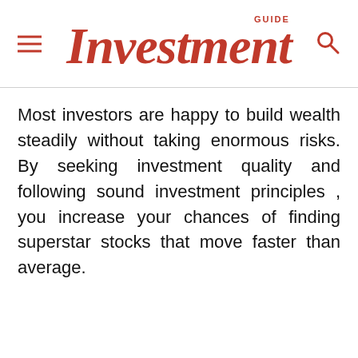GUIDE Investment
Most investors are happy to build wealth steadily without taking enormous risks. By seeking investment quality and following sound investment principles , you increase your chances of finding superstar stocks that move faster than average.